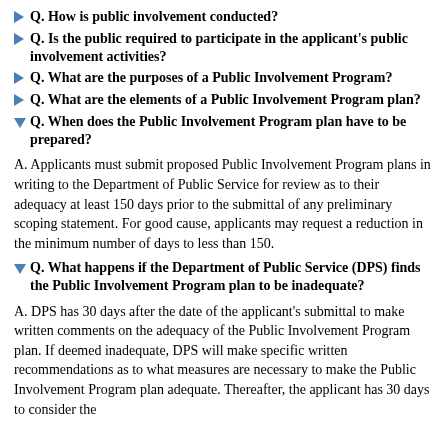Q. How is public involvement conducted?
Q. Is the public required to participate in the applicant's public involvement activities?
Q. What are the purposes of a Public Involvement Program?
Q. What are the elements of a Public Involvement Program plan?
Q. When does the Public Involvement Program plan have to be prepared?
A. Applicants must submit proposed Public Involvement Program plans in writing to the Department of Public Service for review as to their adequacy at least 150 days prior to the submittal of any preliminary scoping statement. For good cause, applicants may request a reduction in the minimum number of days to less than 150.
Q. What happens if the Department of Public Service (DPS) finds the Public Involvement Program plan to be inadequate?
A. DPS has 30 days after the date of the applicant's submittal to make written comments on the adequacy of the Public Involvement Program plan. If deemed inadequate, DPS will make specific written recommendations as to what measures are necessary to make the Public Involvement Program plan adequate. Thereafter, the applicant has 30 days to consider the